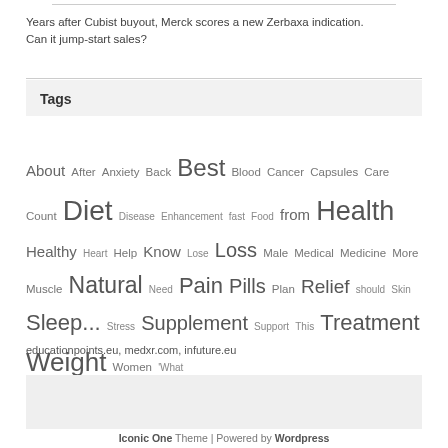Years after Cubist buyout, Merck scores a new Zerbaxa indication. Can it jump-start sales?
Tags
About After Anxiety Back Best Blood Cancer Capsules Care Count Diet Disease Enhancement fast Food from Health Healthy Heart Help Know Lose Loss Male Medical Medicine More Muscle Natural Need Pain Pills Plan Relief should Skin Sleep... Stress Supplement Support This Treatment Weight Women 'What
educationpoints.eu, medxr.com, infuture.eu
Iconic One Theme | Powered by Wordpress